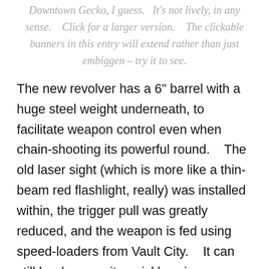Downtown Gecko, I guess.   It's not lively, in any sense.    Click for a larger version.    The clickable banners in this entry will extend rather than just embiggen – try it to see.
The new revolver has a 6" barrel with a huge steel weight underneath, to facilitate weapon control even when chain-shooting its powerful round.    The old laser sight (which is more like a thin-beam red flashlight, really) was installed within, the trigger pull was greatly reduced, and the weapon is fed using speed-loaders from Vault City.    It can still be drawn quite quickly using a custom holster.